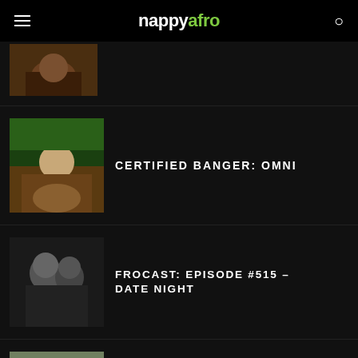nappyafro
[Figure (photo): Thumbnail image - partial article, woman pose outdoors]
CERTIFIED BANGER: OMNI
[Figure (photo): Thumbnail image - woman in bikini sitting on grass]
FROCAST: EPISODE #515 – DATE NIGHT
[Figure (photo): Black and white photo of couple close together]
SONG OF THE WEEK: TOMMY WRIGHT III FEAT. PRINCESS LOKO – "STILL PIMPIN"
[Figure (photo): Young person outdoors in front of building]